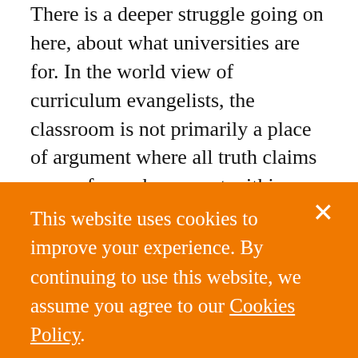There is a deeper struggle going on here, about what universities are for. In the world view of curriculum evangelists, the classroom is not primarily a place of argument where all truth claims are up for grabs, except within tight, heavily policed ideological boundaries. Rather, the classroom is a site in which to advance the cause. This would turn universities into ideological boot camps which emancipate no-one. We might consider alternative ways of learning, where classrooms make space for
This website uses cookies to improve your experience. By continuing to use this website, we assume you agree to our Cookies Policy.